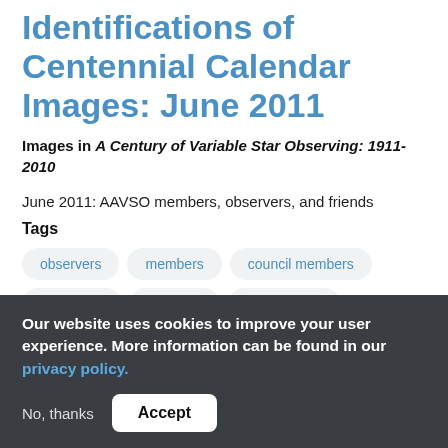Identifications of Centennial Calendar Images: June 2011
Images in A Century of Variable Star Observing: 1911-2010
June 2011: AAVSO members, observers, and friends
Tags
observers
members
council members
centennial
calendar
astronomers
AAVSO History
Read more
Our website uses cookies to improve your user experience. More information can be found in our privacy policy.